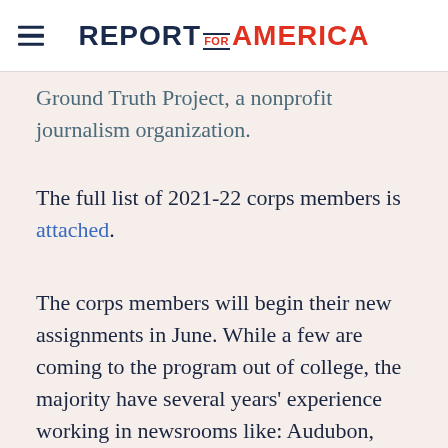REPORT FOR AMERICA
Ground Truth Project, a nonprofit journalism organization.
The full list of 2021-22 corps members is attached.
The corps members will begin their new assignments in June. While a few are coming to the program out of college, the majority have several years' experience working in newsrooms like: Audubon, City Bureau, CNN, Des Moines Register, El Nuevo Dia, FOX News, Kathmandu Post, Los Angeles Times, MSNBC, National Catholic Reporter, National Geographic, Navajo Times, New York Times, NPR, PBS News Hour, Pittsburgh Post-Ga...